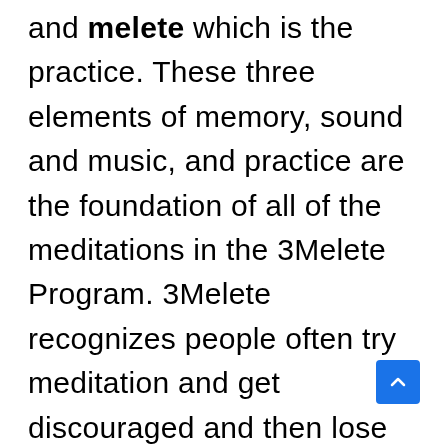and melete which is the practice. These three elements of memory, sound and music, and practice are the foundation of all of the meditations in the 3Melete Program. 3Melete recognizes people often try meditation and get discouraged and then lose access to all the benefits from mental health improvement, lessening depression, release of stress and anxiety, improvement in physical, mental, and emotional health, lessening of pain, and access to developing creativity, insight, problem-solving and intuition development. Research shows